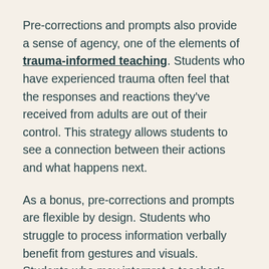Pre-corrections and prompts also provide a sense of agency, one of the elements of trauma-informed teaching. Students who have experienced trauma often feel that the responses and reactions they've received from adults are out of their control. This strategy allows students to see a connection between their actions and what happens next.
As a bonus, pre-corrections and prompts are flexible by design. Students who struggle to process information verbally benefit from gestures and visuals. Students who may interpret a teacher's words differently depending on their linguistic and cultural background, benefit from the use of different